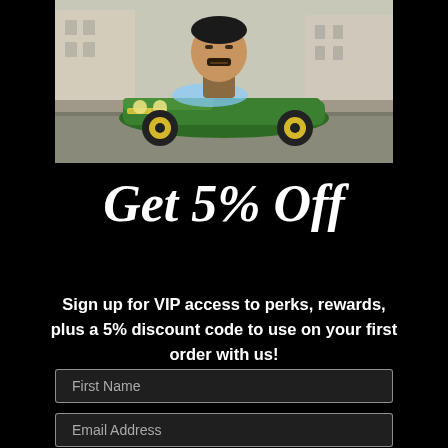[Figure (photo): A Funko Pop vinyl figure of a character with a beard riding in a green lowrider Impala convertible toy car, photographed on a street/sidewalk setting with shallow depth of field.]
Get 5% Off
Sign up for VIP access to perks, rewards, plus a 5% discount code to use on your first order with us!
First Name
Email Address